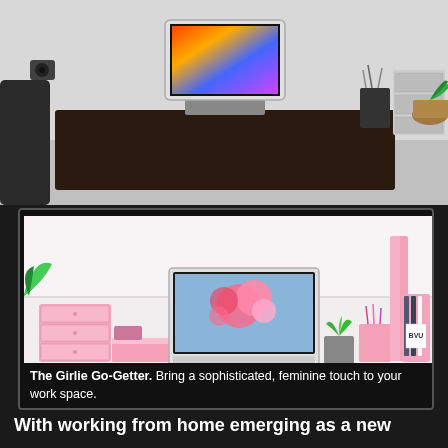[Figure (photo): Top photo of a modern desk setup with dark desk surface, laptop with colorful screen, pen holders, drawer storage units with geometric pattern, and a plant in a wicker pot, on a white/gray background]
[Figure (photo): Photo inside black frame showing a pink-themed feminine desk setup with pink drawer unit, laptop displaying floral wallpaper, pink vertical file organizer, pink desk organizer with pens, notebooks, a small succulent plant, on a white surface]
The Girlie Go-Getter.  Bring a sophisticated, feminine touch to your work space.
With working from home emerging as a new